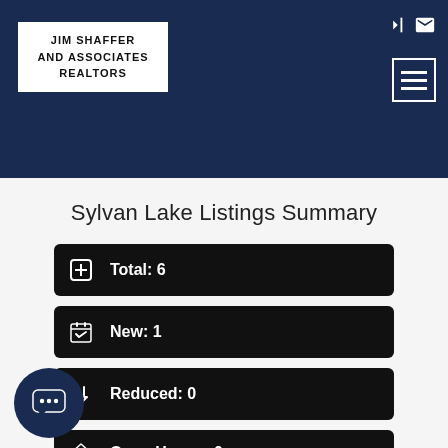[Figure (logo): Jim Shaffer and Associates Realtors logo in white box with black border on dark navy header]
Sylvan Lake Listings Summary
Total: 6
New: 1
Reduced: 0
Open House: 0